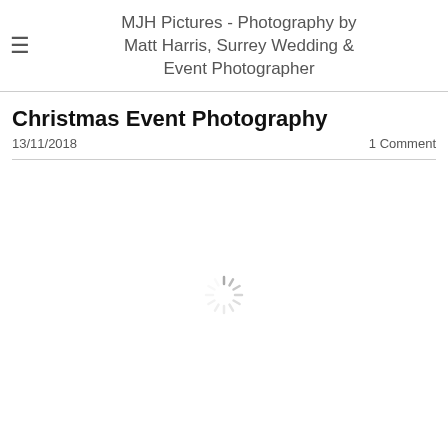MJH Pictures - Photography by Matt Harris, Surrey Wedding & Event Photographer
Christmas Event Photography
13/11/2018    1 Comment
[Figure (other): Loading spinner icon (rotating wheel/sun graphic indicating content is loading)]